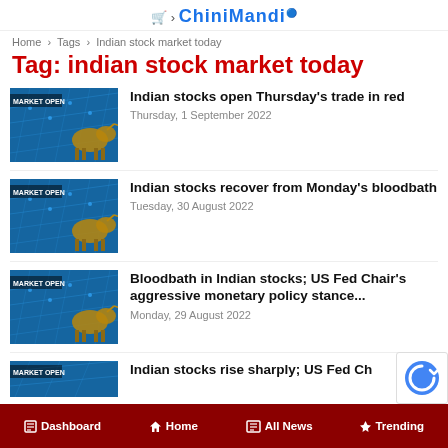ChiniMandi
Home › Tags › Indian stock market today
Tag: indian stock market today
[Figure (photo): Market Open thumbnail with bull statue and blue network background]
Indian stocks open Thursday's trade in red
Thursday, 1 September 2022
[Figure (photo): Market Open thumbnail with bull statue and blue network background]
Indian stocks recover from Monday's bloodbath
Tuesday, 30 August 2022
[Figure (photo): Market Open thumbnail with bull statue and blue network background]
Bloodbath in Indian stocks; US Fed Chair's aggressive monetary policy stance...
Monday, 29 August 2022
[Figure (photo): Market Open thumbnail with bull statue and blue network background (partially visible)]
Indian stocks rise sharply; US Fed Ch
Dashboard   Home   All News   Trending